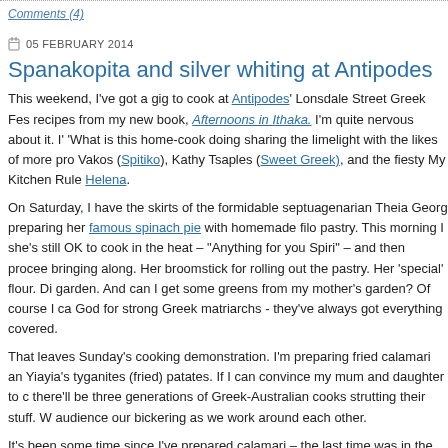Comments (4)
05 FEBRUARY 2014
Spanakopita and silver whiting at Antipodes
This weekend, I've got a gig to cook at Antipodes' Lonsdale Street Greek Fes... recipes from my new book, Afternoons in Ithaka. I'm quite nervous about it. I'... 'What is this home-cook doing sharing the limelight with the likes of more pro... Vakos (Spitiko), Kathy Tsaples (Sweet Greek), and the fiesty My Kitchen Rule... Helena.
On Saturday, I have the skirts of the formidable septuagenarian Theia Georg... preparing her famous spinach pie with homemade filo pastry. This morning I ... she's still OK to cook in the heat – "Anything for you Spiri" – and then procee... bringing along. Her broomstick for rolling out the pastry. Her 'special' flour. Di... garden. And can I get some greens from my mother's garden? Of course I ca... God for strong Greek matriarchs - they've always got everything covered.
That leaves Sunday's cooking demonstration. I'm preparing fried calamari an... Yiayia's tyganites (fried) patates. If I can convince my mum and daughter to c... there'll be three generations of Greek-Australian cooks strutting their stuff. W... audience our bickering as we work around each other.
It's been some time since I've prepared calamari – the last time was in the sc...